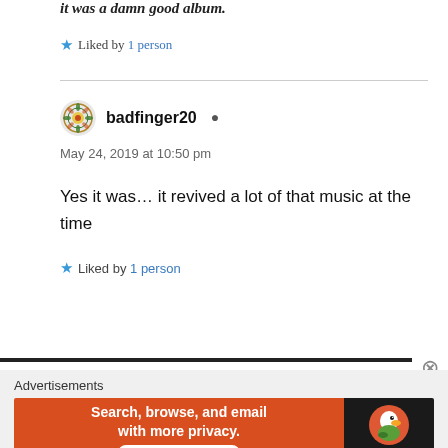it was a damn good album.
Liked by 1 person
badfinger20
May 24, 2019 at 10:50 pm
Yes it was... it revived a lot of that music at the time
Liked by 1 person
Advertisements
[Figure (screenshot): DuckDuckGo advertisement banner: orange section with text 'Search, browse, and email with more privacy.' and 'All in One Free App' button; dark section with DuckDuckGo logo and wordmark.]